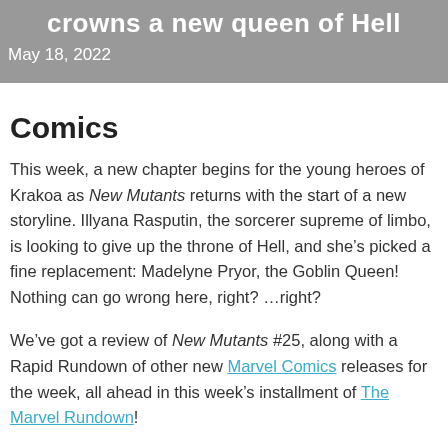crowns a new queen of Hell
May 18, 2022
Comics
This week, a new chapter begins for the young heroes of Krakoa as New Mutants returns with the start of a new storyline. Illyana Rasputin, the sorcerer supreme of limbo, is looking to give up the throne of Hell, and she’s picked a fine replacement: Madelyne Pryor, the Goblin Queen! Nothing can go wrong here, right? …right?
We’ve got a review of New Mutants #25, along with a Rapid Rundown of other new Marvel Comics releases for the week, all ahead in this week’s installment of The Marvel Rundown!